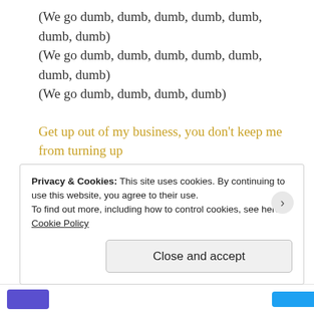(We go dumb, dumb, dumb, dumb, dumb, dumb, dumb)
(We go dumb, dumb, dumb, dumb, dumb, dumb, dumb)
(We go dumb, dumb, dumb, dumb)
Get up out of my business, you don't keep me from turning up
모두 다 여긴 Witness 넌 바른 척하는 Criminal
modu da yeogin Witness neon bareun cheokhaneun Criminal
Everybody here is a witness, you're acting but everyone sees you're just as bad, criminal
Privacy & Cookies: This site uses cookies. By continuing to use this website, you agree to their use.
To find out more, including how to control cookies, see here: Cookie Policy
Close and accept